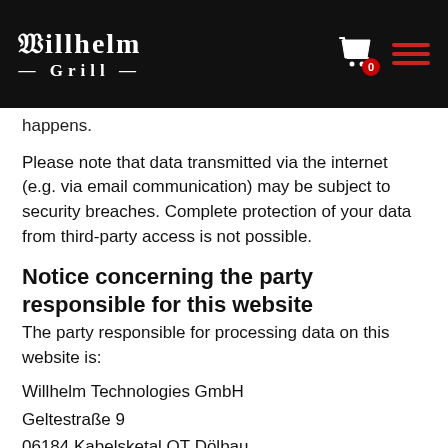Willhelm Grill — website header with logo, cart icon (0), and hamburger menu
happens.
Please note that data transmitted via the internet (e.g. via email communication) may be subject to security breaches. Complete protection of your data from third-party access is not possible.
Notice concerning the party responsible for this website
The party responsible for processing data on this website is:
Willhelm Technologies GmbH
Geltestraße 9
06184 Kabelsketal OT Dölbau
Telefon: +49 (0) 34608 20001 75